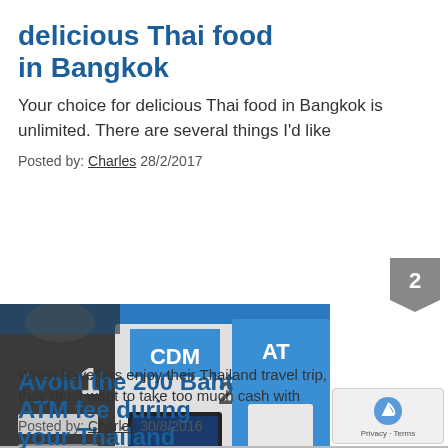delicious Thai food in Bangkok
Your choice for delicious Thai food in Bangkok is unlimited. There are several things I'd like
Posted by: Charles 28/2/2017
[Figure (photo): Photo of ATM machines with CDM label, blue background]
Avoid the 200 Baht ATM fee during your Thailand travel trip
When travellers enjoy their Thailand travel trip, they don't want to take too much cash with
Posted by: Charles 30/8/2016